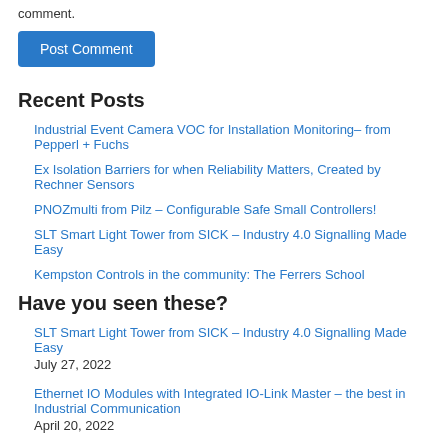comment.
Post Comment
Recent Posts
Industrial Event Camera VOC for Installation Monitoring– from Pepperl + Fuchs
Ex Isolation Barriers for when Reliability Matters, Created by Rechner Sensors
PNOZmulti from Pilz – Configurable Safe Small Controllers!
SLT Smart Light Tower from SICK – Industry 4.0 Signalling Made Easy
Kempston Controls in the community: The Ferrers School
Have you seen these?
SLT Smart Light Tower from SICK – Industry 4.0 Signalling Made Easy
July 27, 2022
Ethernet IO Modules with Integrated IO-Link Master – the best in Industrial Communication
April 20, 2022
Kempston Controls Top Ten Blog Posts of 2019
December 23, 2019